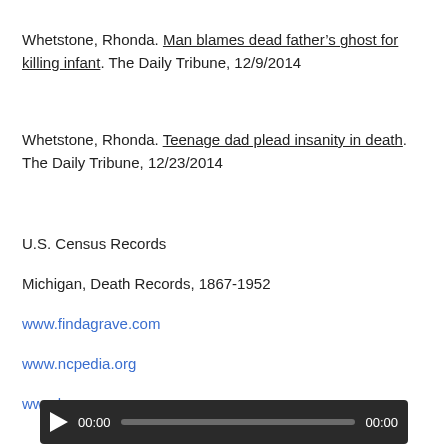Whetstone, Rhonda. Man blames dead father's ghost for killing infant. The Daily Tribune, 12/9/2014
Whetstone, Rhonda. Teenage dad plead insanity in death. The Daily Tribune, 12/23/2014
U.S. Census Records
Michigan, Death Records, 1867-1952
www.findagrave.com
www.ncpedia.org
www.legacy.com
[Figure (other): Audio player bar with play button, 00:00 time display, progress track, and 00:00 end time]